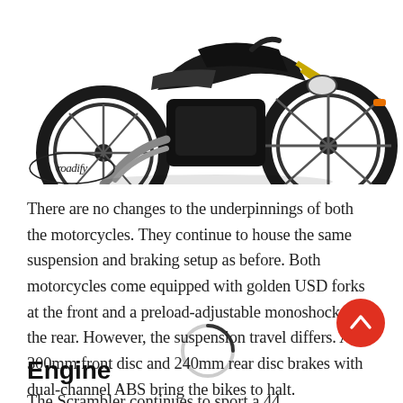[Figure (photo): Black motorcycle (cruiser/bobber style) photographed against white background, showing front wheel, forks, engine, and exhaust. Partial view cropped at top.]
[Figure (logo): Roadify logo in cursive/script handwriting style, black text on white background]
There are no changes to the underpinnings of both the motorcycles. They continue to house the same suspension and braking setup as before. Both motorcycles come equipped with golden USD forks at the front and a preload-adjustable monoshock at the rear. However, the suspension travel differs. A 300mm front disc and 240mm rear disc brakes with dual-channel ABS bring the bikes to halt.
Engine
The Scrambler continues to sport a 44...